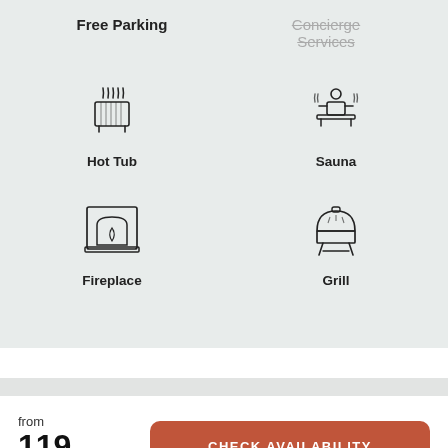Free Parking
Concierge Services (strikethrough)
[Figure (illustration): Hot tub icon — steaming tub with wavy steam lines above]
Hot Tub
[Figure (illustration): Sauna icon — person sitting in sauna with steam/heat waves]
Sauna
[Figure (illustration): Fireplace icon — fireplace with flame visible inside]
Fireplace
[Figure (illustration): Grill icon — covered outdoor grill/BBQ]
Grill
from
119
USD/night
CHECK AVAILABILITY